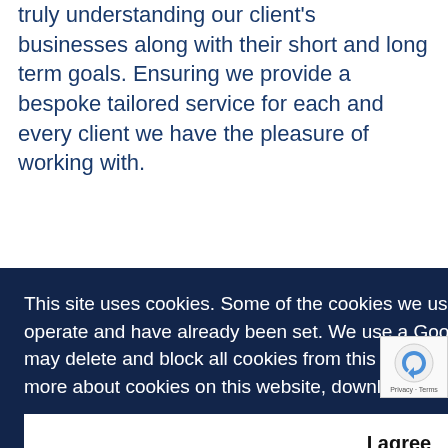truly understanding our client's businesses along with their short and long term goals. Ensuring we provide a bespoke tailored service for each and every client we have the pleasure of working with.
This site uses cookies. Some of the cookies we use are essential for parts of the site to operate and have already been set. We use a Google Analytics script which sets cookies. You may delete and block all cookies from this site, but parts of the site will not work. To find out more about cookies on this website, download a copy of our Privacy Policy
I agree